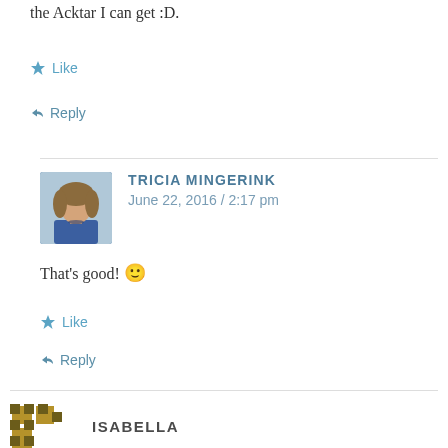the Acktar I can get :D.
★ Like
↩ Reply
[Figure (photo): Profile photo of Tricia Mingerink - a woman with curly light hair wearing blue]
TRICIA MINGERINK
June 22, 2016 / 2:17 pm
That's good! 🙂
★ Like
↩ Reply
[Figure (logo): Isabella's avatar - pixelated dark yellow/gold checkerboard pattern logo]
ISABELLA